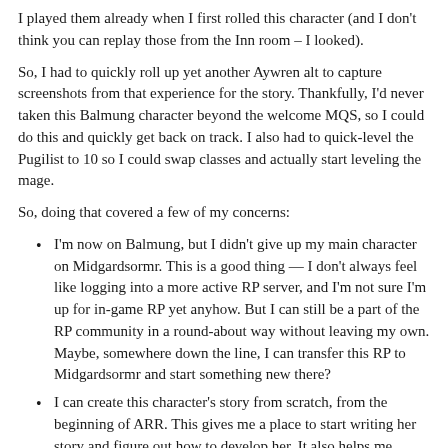I played them already when I first rolled this character (and I don't think you can replay those from the Inn room – I looked).
So, I had to quickly roll up yet another Aywren alt to capture screenshots from that experience for the story. Thankfully, I'd never taken this Balmung character beyond the welcome MQS, so I could do this and quickly get back on track. I also had to quick-level the Pugilist to 10 so I could swap classes and actually start leveling the mage.
So, doing that covered a few of my concerns:
I'm now on Balmung, but I didn't give up my main character on Midgardsormr. This is a good thing — I don't always feel like logging into a more active RP server, and I'm not sure I'm up for in-game RP yet anyhow. But I can still be a part of the RP community in a round-about way without leaving my own. Maybe, somewhere down the line, I can transfer this RP to Midgardsormr and start something new there?
I can create this character's story from scratch, from the beginning of ARR. This gives me a place to start writing her story and figure out how to develop her. It also helps me recreate her identity, rather that her just being a name-change to an existing character — this is important to me.
The biggest thing to overcome is to figure out how I want to